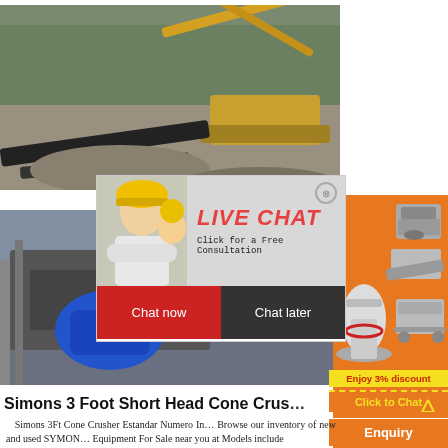[Figure (photo): Excavator and construction machinery working at a gravel/sand site with rubble and vegetation in background]
[Figure (photo): Close-up of industrial crushing machinery with blue motor component visible]
[Figure (photo): Live chat popup overlay with woman in hardhat and colleagues, red LIVE CHAT heading, Chat now and Chat later buttons]
[Figure (photo): Orange sidebar advertisement showing crushing and screening equipment, Enjoy 3% discount, Click to Chat, and Enquiry buttons]
Simons 3 Foot Short Head Cone Crus…
Simons 3Ft Cone Crusher Estandar Numero In… Browse our inventory of new and used SYMON… Equipment For Sale near you at Models include